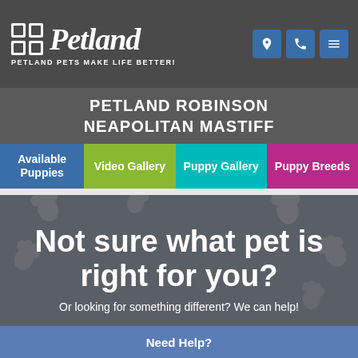Petland — PETLAND PETS MAKE LIFE BETTER!
PETLAND ROBINSON NEAPOLITAN MASTIFF
Available Puppies
Video Gallery
Puppy Gallery
Puppy Breeds
[Figure (illustration): Dark grey background with scattered light grey paw print pattern]
Not sure what pet is right for you?
Or looking for something different? We can help!
Need Help?